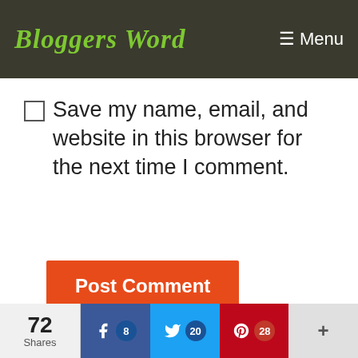Bloggers Word | Menu
Save my name, email, and website in this browser for the next time I comment.
Post Comment
5 Best Tips for Guest Blogging in 2022
5 Best DigitalOcean Alternatives In 202…
72 Shares | Facebook 8 | Twitter 20 | Pinterest 28 | +